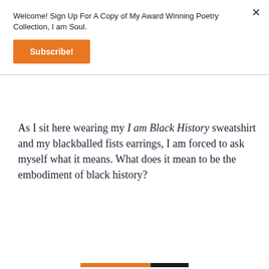Welcome! Sign Up For A Copy of My Award Winning Poetry Collection, I am Soul.
Subscribe!
As I sit here wearing my I am Black History sweatshirt and my blackballed fists earrings, I am forced to ask myself what it means. What does it mean to be the embodiment of black history?
Privacy & Cookies: This site uses cookies. By continuing to use this website, you agree to their use.
To find out more, including how to control cookies, see here: Cookie Policy
Close and accept